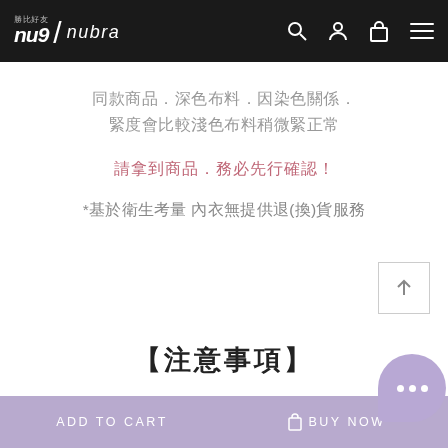nu9 / nubra
同款商品．深色布料．因染色關係．緊度會比較淺色布料稍微緊正常
請拿到商品．務必先行確認！
*基於衛生考量 內衣無提供退(換)貨服務
【注意事項】
ADD TO CART    BUY NOW